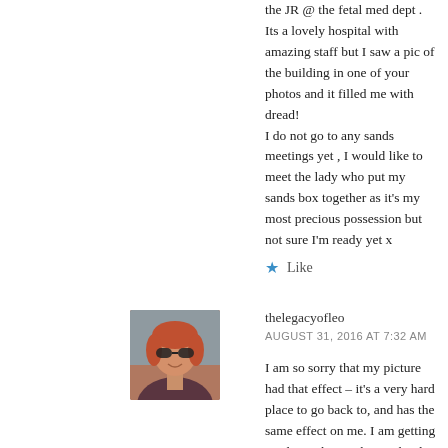the JR @ the fetal med dept . Its a lovely hospital with amazing staff but I saw a pic of the building in one of your photos and it filled me with dread! I do not go to any sands meetings yet , I would like to meet the lady who put my sands box together as it's my most precious possession but not sure I'm ready yet x
★ Like
[Figure (photo): Profile photo of thelegacyofleo — a woman with red hair wearing sunglasses, smiling outdoors]
thelegacyofleo
AUGUST 31, 2016 AT 7:32 AM
I am so sorry that my picture had that effect – it's a very hard place to go back to, and has the same effect on me. I am getting used to it, but it's been a battle. Just take your time, I found the one meeting we've been too very helpful as it made me feel normal for the first time in months. We didn't go until about 4 months in, but it's all very different